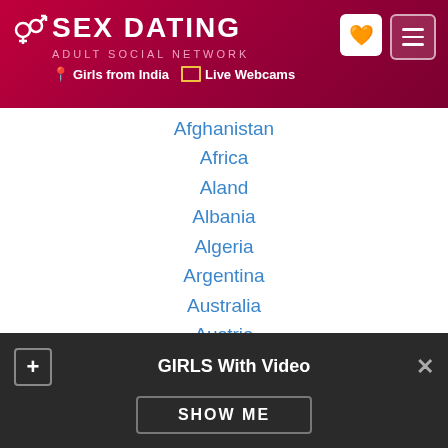[Figure (screenshot): Sex Dating adult social network website header with logo, gender icons, navigation links for Girls from India and Live Webcams, heart icon button and menu button]
Afghanistan
Africa
Aland
Albania
Algeria
Argentina
Australia
Austria
Bahamas
Bahrain
Bangladesh
Belgium
Belize
GIRLS With Video
SHOW ME